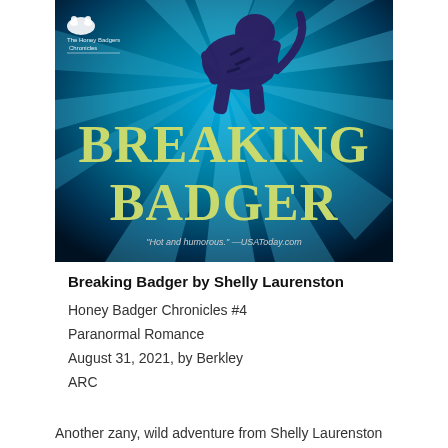[Figure (illustration): Book cover for 'Breaking Badger' by Shelly Laurenston. Blue background with radiating light rays, a dark illustrated tiger rearing up, large yellow-green text reading 'BREAKING BADGER', subtitle series logo top left, quote at bottom reading 'Hot and humorous.' —USAToday.com]
Breaking Badger by Shelly Laurenston
Honey Badger Chronicles #4
Paranormal Romance
August 31, 2021, by Berkley
ARC
Another zany, wild adventure from Shelly Laurenston